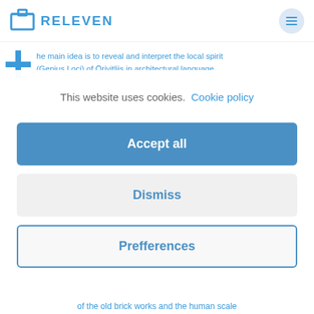RELEVEN
he main idea is to reveal and interpret the local spirit (Genius Loci) of Örivitlijs in architectural language...
This website uses cookies.  Cookie policy
Accept all
Dismiss
Prefferences
of the old brick works and the human scale